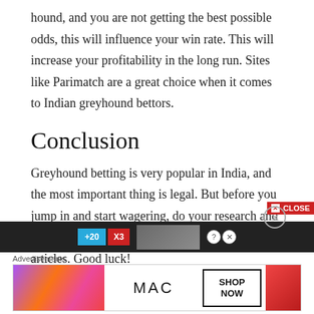hound, and you are not getting the best possible odds, this will influence your win rate. This will increase your profitability in the long run. Sites like Parimatch are a great choice when it comes to Indian greyhound bettors.
Conclusion
Greyhound betting is very popular in India, and the most important thing is legal. But before you jump in and start wagering, do your research and in all cases follow the rules on the top of the articles. Good luck!
[Figure (screenshot): Advertisement banner with close button, showing a MAC cosmetics ad with lipsticks and 'SHOP NOW' button. Includes an ad strip with blue and red buttons above.]
Advertisements